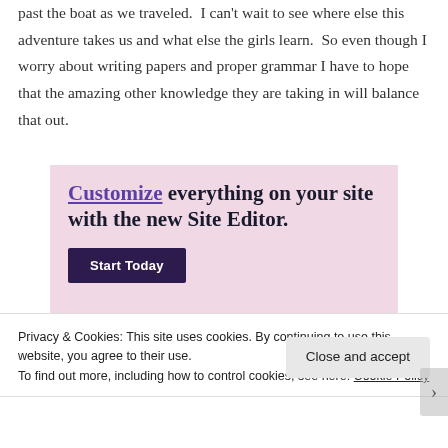past the boat as we traveled.  I can't wait to see where else this adventure takes us and what else the girls learn.  So even though I worry about writing papers and proper grammar I have to hope that the amazing other knowledge they are taking in will balance that out.
[Figure (other): WordPress.com advertisement banner with pink background. Text reads 'Customize everything on your site with the new Site Editor.' with a 'Start Today' dark button and WordPress.com logo badge.]
Privacy & Cookies: This site uses cookies. By continuing to use this website, you agree to their use.
To find out more, including how to control cookies, see here: Cookie Policy
Close and accept